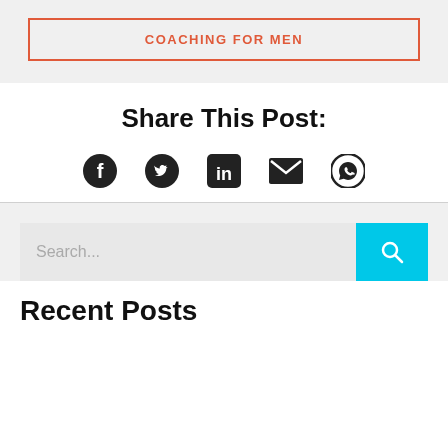COACHING FOR MEN
Share This Post:
[Figure (infographic): Social share icons: Facebook, Twitter, LinkedIn, Email, WhatsApp]
Search...
Recent Posts